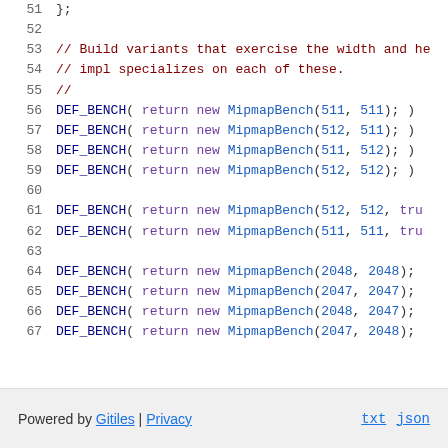51  };
52  
53  // Build variants that exercise the width and he
54  // impl specializes on each of these.
55  //
56  DEF_BENCH( return new MipmapBench(511, 511); )
57  DEF_BENCH( return new MipmapBench(512, 511); )
58  DEF_BENCH( return new MipmapBench(511, 512); )
59  DEF_BENCH( return new MipmapBench(512, 512); )
60  
61  DEF_BENCH( return new MipmapBench(512, 512, tru
62  DEF_BENCH( return new MipmapBench(511, 511, tru
63  
64  DEF_BENCH( return new MipmapBench(2048, 2048);
65  DEF_BENCH( return new MipmapBench(2047, 2047);
66  DEF_BENCH( return new MipmapBench(2048, 2047);
67  DEF_BENCH( return new MipmapBench(2047, 2048);
Powered by Gitiles | Privacy    txt  json